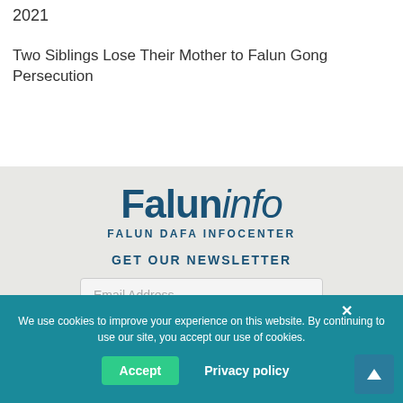2021
Two Siblings Lose Their Mother to Falun Gong Persecution
[Figure (logo): Faluninfo Falun Dafa Infocenter logo]
GET OUR NEWSLETTER
Email Address
SUBMIT
We use cookies to improve your experience on this website. By continuing to use our site, you accept our use of cookies.
Accept
Privacy policy